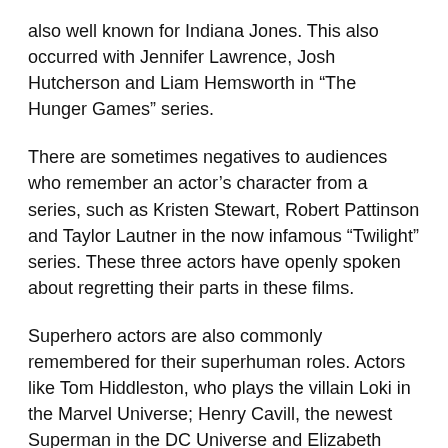also well known for Indiana Jones. This also occurred with Jennifer Lawrence, Josh Hutcherson and Liam Hemsworth in “The Hunger Games” series.
There are sometimes negatives to audiences who remember an actor’s character from a series, such as Kristen Stewart, Robert Pattinson and Taylor Lautner in the now infamous “Twilight” series. These three actors have openly spoken about regretting their parts in these films.
Superhero actors are also commonly remembered for their superhuman roles. Actors like Tom Hiddleston, who plays the villain Loki in the Marvel Universe; Henry Cavill, the newest Superman in the DC Universe and Elizabeth Olsen, a newer addition to the Marvel Universe as the Scarlet Witch, have seen their film careers skyrocket because of these roles.